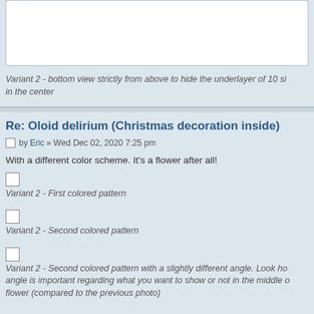[Figure (photo): White rectangle image placeholder at top of page]
Variant 2 - bottom view strictly from above to hide the underlayer of 10 si in the center
Re: Oloid delirium (Christmas decoration inside)
by Eric » Wed Dec 02, 2020 7:25 pm
With a different color scheme. It's a flower after all!
[Figure (photo): Small image placeholder square]
Variant 2 - First colored pattern
[Figure (photo): Small image placeholder square]
Variant 2 - Second colored pattern
[Figure (photo): Small image placeholder square]
Variant 2 - Second colored pattern with a slightly different angle. Look ho angle is important regarding what you want to show or not in the middle o flower (compared to the previous photo)